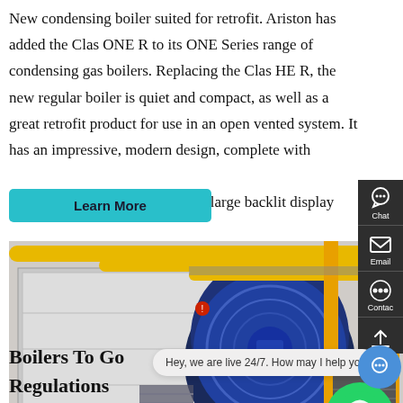New condensing boiler suited for retrofit. Ariston has added the Clas ONE R to its ONE Series range of condensing gas boilers. Replacing the Clas HE R, the new regular boiler is quiet and compact, as well as a great retrofit product for use in an open vented system. It has an impressive, modern design, complete with a large backlit display
[Figure (photo): Industrial boiler room with large blue cylindrical boiler unit, yellow piping, metal stairs, and various machinery in a factory setting.]
Boilers To Go
Regulations